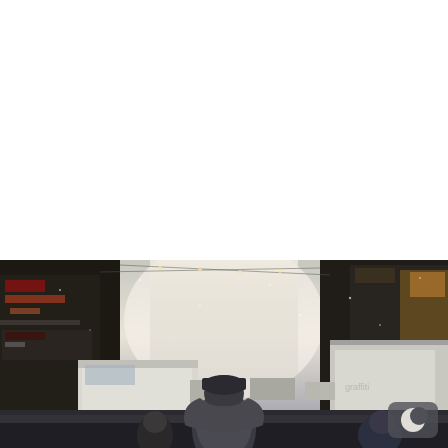• PLANESCAPE: TORMENT
• TORMENT: TIDES OF NUMENERA
[Figure (illustration): Dark atmospheric concept art of a snowy urban street scene viewed from behind a figure in a winter hat, with vehicles, buildings, and light fog. A crescent moon icon appears in the bottom-right corner.]